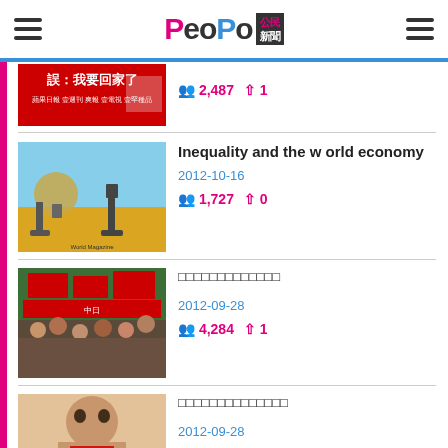PeoPo 公民新聞
[Figure (photo): Thumbnail image with Chinese text: 誤：我要回家了]
2,487 views · 1 share
[Figure (photo): Two people walking with a coin between them - inequality illustration]
Inequality and the world economy
2012-10-16
1,727 views · 0 shares
[Figure (photo): Crowd with red flags and banners at a protest]
□□□□□□□□□□□□□
2012-09-28
4,284 views · 1 share
[Figure (photo): Young woman with Chinese flag covering her mouth]
□□□□□□□□□□□□□□
2012-09-28